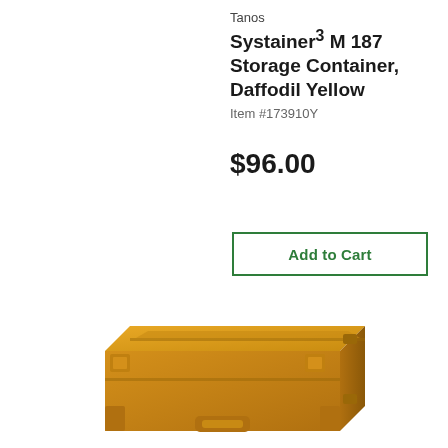Tanos
Systainer³ M 187 Storage Container, Daffodil Yellow
Item #173910Y
$96.00
Add to Cart
[Figure (photo): Yellow Tanos Systainer³ M 187 storage container box, shown at an angle, daffodil yellow color with latches and handle visible]